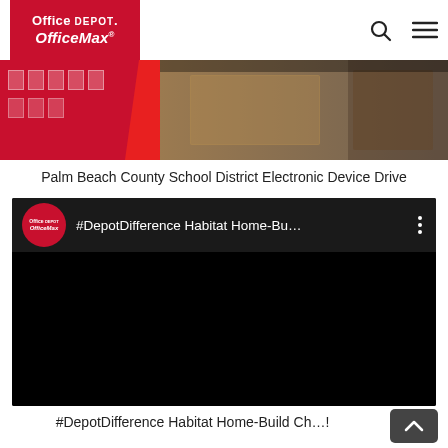Office Depot OfficeMax
[Figure (photo): Hero image strip: left side shows red background with white boxes/items on shelves; right side shows a person holding a large cardboard box]
Palm Beach County School District Electronic Device Drive
[Figure (screenshot): YouTube video embed with Office Depot OfficeMax logo on dark background showing title '#DepotDifference Habitat Home-Bu...' with three-dot menu icon]
#DepotDifference Habitat Home-Build Ch...!